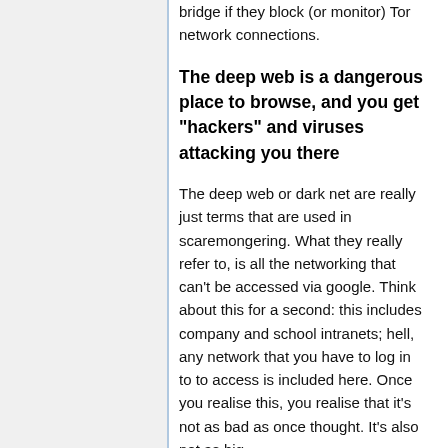bridge if they block (or monitor) Tor network connections.
The deep web is a dangerous place to browse, and you get "hackers" and viruses attacking you there
The deep web or dark net are really just terms that are used in scaremongering. What they really refer to, is all the networking that can't be accessed via google. Think about this for a second: this includes company and school intranets; hell, any network that you have to log in to to access is included here. Once you realise this, you realise that it's not as bad as once thought. It's also not as big.
Bottom-line, under the vague definition